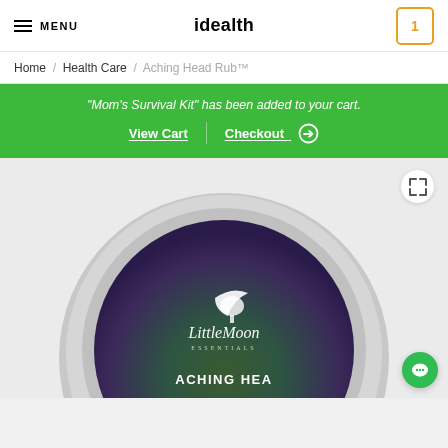MENU | idealth | 1
Home / Health Care / Aching Head Rub™
"Mom's Survival Kit" has been added to your cart. View Cart | Checkout ➔
[Figure (photo): Product tin of Little Moon Essentials Aching Head Rub, circular tin with purple-green gradient label showing a crescent moon and tree logo, partially cropped at bottom of page]